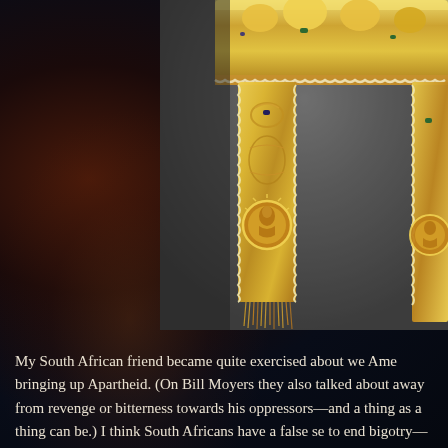[Figure (photo): Close-up photograph of ornate golden ceremonial objects — appears to be a crown and decorated sashes or straps with intricate filigree work, jewels, and fringe tassels, displayed against a dark gray background.]
My South African friend became quite exercised about we Ame bringing up Apartheid. (On Bill Moyers they also talked about away from revenge or bitterness towards his oppressors—and a thing as a thing can be.) I think South Africans have a false se to end bigotry—their miraculous, overnight switch from arth